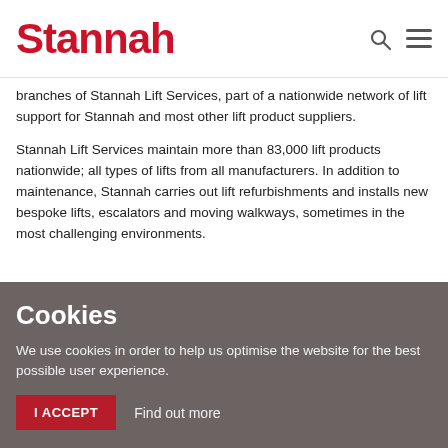Stannah
branches of Stannah Lift Services, part of a nationwide network of lift support for Stannah and most other lift product suppliers.
Stannah Lift Services maintain more than 83,000 lift products nationwide; all types of lifts from all manufacturers. In addition to maintenance, Stannah carries out lift refurbishments and installs new bespoke lifts, escalators and moving walkways, sometimes in the most challenging environments.
Cookies
We use cookies in order to help us optimise the website for the best possible user experience.
I ACCEPT   Find out more